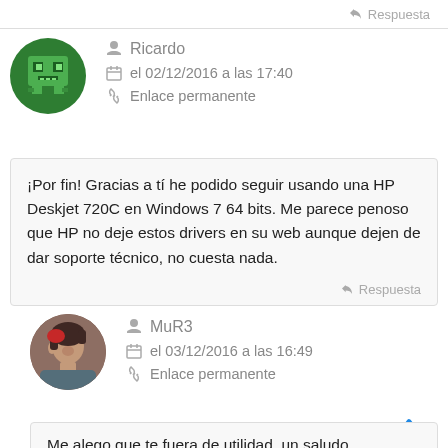Respuesta
Ricardo
el 02/12/2016 a las 17:40
Enlace permanente
¡Por fin! Gracias a tí he podido seguir usando una HP Deskjet 720C en Windows 7 64 bits. Me parece penoso que HP no deje estos drivers en su web aunque dejen de dar soporte técnico, no cuesta nada.
Respuesta
MuR3
el 03/12/2016 a las 16:49
Enlace permanente
Me alego que te fuera de utilidad, un saludo.